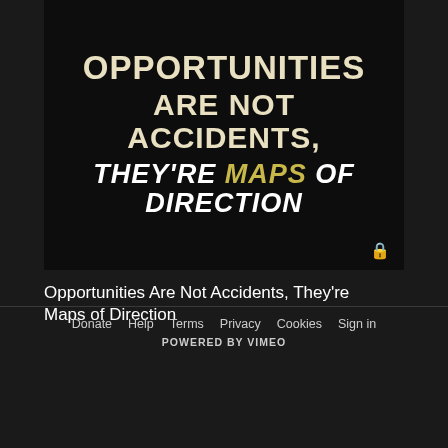[Figure (illustration): Dark background thumbnail image with bold text reading 'OPPORTUNITIES ARE NOT ACCIDENTS, THEY'RE MAPS OF DIRECTION' with a lock icon in the bottom right corner]
Opportunities Are Not Accidents, They're Maps of Direction
Donate  Help  Terms  Privacy  Cookies  Sign in  POWERED BY VIMEO